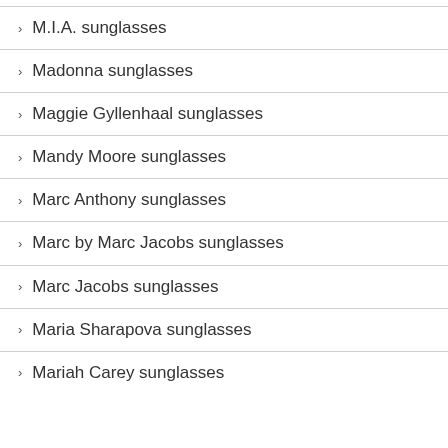M.I.A. sunglasses
Madonna sunglasses
Maggie Gyllenhaal sunglasses
Mandy Moore sunglasses
Marc Anthony sunglasses
Marc by Marc Jacobs sunglasses
Marc Jacobs sunglasses
Maria Sharapova sunglasses
Mariah Carey sunglasses